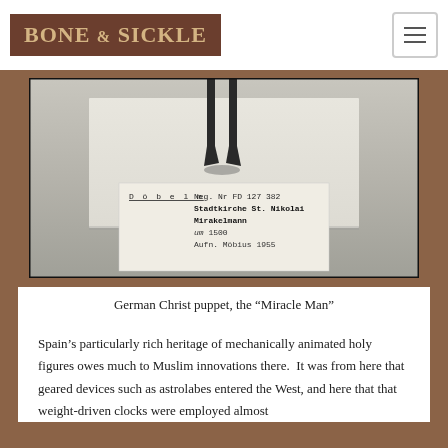BONE & SICKLE
[Figure (photo): Black and white archival photograph of a German Christ puppet known as the 'Miracle Man', showing the lower legs and feet of a marionette figure suspended above a white card label. The label reads: Döbeln, Neg. Nr FD 127 382, Stadtkirche St. Nikolai, Mirakelmann, um 1500, Aufn. Möbius 1955]
German Christ puppet, the “Miracle Man”
Spain’s particularly rich heritage of mechanically animated holy figures owes much to Muslim innovations there.  It was from here that geared devices such as astrolabes entered the West, and here that that weight-driven clocks were employed almost